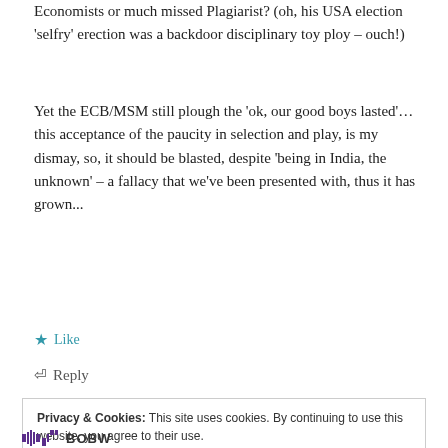Economists or much missed Plagiarist? (oh, his USA election 'selfry' erection was a backdoor disciplinary toy ploy – ouch!)
Yet the ECB/MSM still plough the 'ok, our good boys lasted'… this acceptance of the paucity in selection and play, is my dismay, so, it should be blasted, despite 'being in India, the unknown' – a fallacy that we've been presented with, thus it has grown...
Like
Reply
Privacy & Cookies: This site uses cookies. By continuing to use this website, you agree to their use.
To find out more, including how to control cookies, see here: Cookie Policy
Close and accept
BOBW